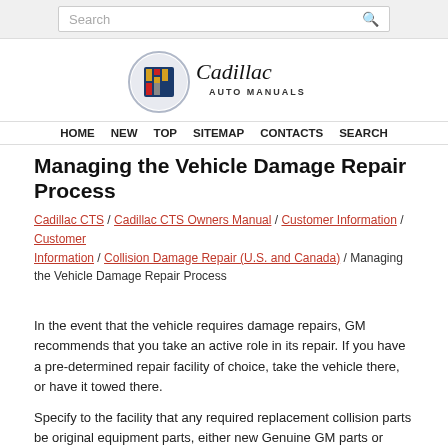Search
[Figure (logo): Cadillac Auto Manuals logo with crest emblem and cursive Cadillac text]
HOME  NEW  TOP  SITEMAP  CONTACTS  SEARCH
Managing the Vehicle Damage Repair Process
Cadillac CTS / Cadillac CTS Owners Manual / Customer Information / Customer Information / Collision Damage Repair (U.S. and Canada) / Managing the Vehicle Damage Repair Process
In the event that the vehicle requires damage repairs, GM recommends that you take an active role in its repair. If you have a pre-determined repair facility of choice, take the vehicle there, or have it towed there.
Specify to the facility that any required replacement collision parts be original equipment parts, either new Genuine GM parts or recycled